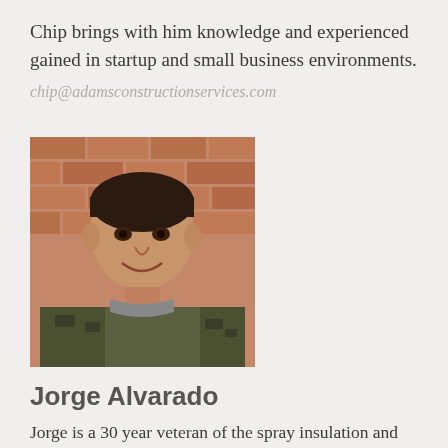Chip brings with him knowledge and experienced gained in startup and small business environments.
chip@adamsconstructionservices.com
[Figure (photo): Headshot of Jorge Alvarado, a man smiling in front of a brick wall, wearing a camouflage jacket]
Jorge Alvarado
Jorge is a 30 year veteran of the spray insulation and fireproofing industry. Jorge is currently the General Superintendent of Adams Construction Services, Inc, a position he has held for 22 years. Jorge joined Adams Construction Services, Inc. in 1992 and